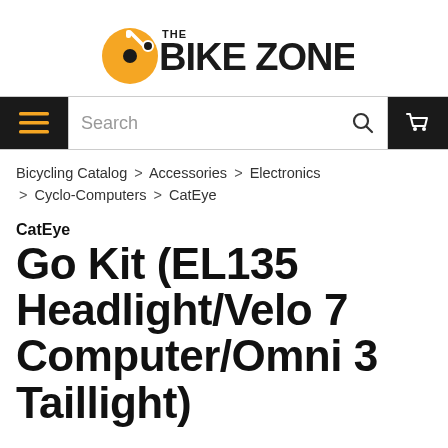[Figure (logo): The Bike Zone logo with orange bicycle icon and bold black text]
Navigation bar with menu, search, and cart
Bicycling Catalog > Accessories > Electronics > Cyclo-Computers > CatEye
CatEye
Go Kit (EL135 Headlight/Velo 7 Computer/Omni 3 Taillight)